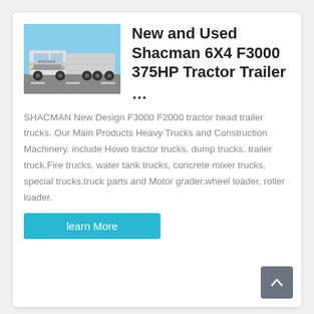[Figure (photo): Photo of a white Shacman 6X4 F3000 truck/tractor trailer on a road]
New and Used Shacman 6X4 F3000 375HP Tractor Trailer …
SHACMAN New Design F3000 F2000 tractor head trailer trucks. Our Main Products Heavy Trucks and Construction Machinery. include Howo tractor trucks, dump trucks, trailer truck,Fire trucks, water tank trucks, concrete mixer trucks, special trucks,truck parts and Motor grader,wheel loader, roller loader.
learn More